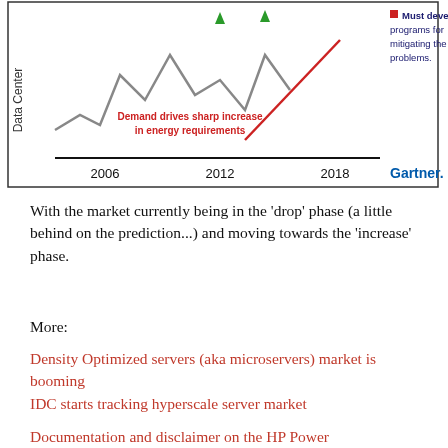[Figure (continuous-plot): Gartner line chart showing Data Center energy demand over time from 2006 to 2018. A gray zigzag line shows historical/projected data center energy use with ups and downs. A red diagonal line rises sharply with annotation 'Demand drives sharp increase in energy requirements'. A red bullet note reads 'Must develop programs for mitigating the problems.' The Gartner logo appears bottom right. X-axis labels: 2006, 2012, 2018.]
With the market currently being in the 'drop' phase (a little behind on the prediction...) and moving towards the 'increase' phase.
More:
Density Optimized servers (aka microservers) market is booming
IDC starts tracking hyperscale server market
Documentation and disclaimer on the HP Power